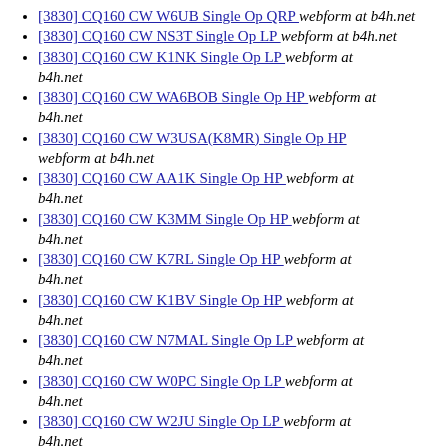[3830] CQ160 CW W6UB Single Op QRP  webform at b4h.net
[3830] CQ160 CW NS3T Single Op LP  webform at b4h.net
[3830] CQ160 CW K1NK Single Op LP  webform at b4h.net
[3830] CQ160 CW WA6BOB Single Op HP  webform at b4h.net
[3830] CQ160 CW W3USA(K8MR) Single Op HP  webform at b4h.net
[3830] CQ160 CW AA1K Single Op HP  webform at b4h.net
[3830] CQ160 CW K3MM Single Op HP  webform at b4h.net
[3830] CQ160 CW K7RL Single Op HP  webform at b4h.net
[3830] CQ160 CW K1BV Single Op HP  webform at b4h.net
[3830] CQ160 CW N7MAL Single Op LP  webform at b4h.net
[3830] CQ160 CW W0PC Single Op LP  webform at b4h.net
[3830] CQ160 CW W2JU Single Op LP  webform at b4h.net
[3830] BARTG Sprint W3LL Single Op LP  webform at b4h.net